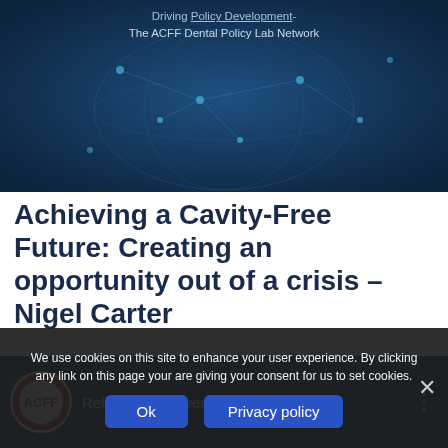[Figure (screenshot): Dark blue banner with globe network graphic and text: 'Driving Policy Development- The ACFF Dental Policy Lab Network']
Achieving a Cavity-Free Future: Creating an opportunity out of a crisis – Nigel Carter
[Figure (screenshot): ACFF YouTube video panel showing 'Refocusing Prevention for Public, P...' with ACFF circular logo and three-dot menu]
We use cookies on this site to enhance your user experience. By clicking any link on this page your are giving your consent for us to set cookies.